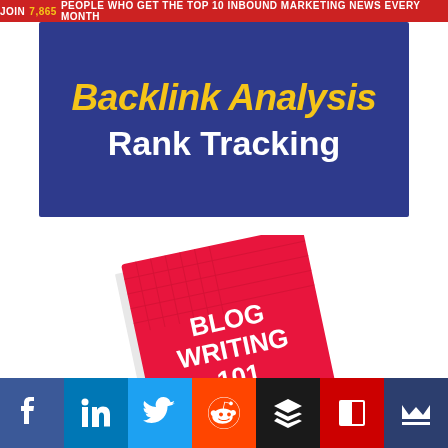JOIN 7,865 PEOPLE WHO GET THE TOP 10 INBOUND MARKETING NEWS EVERY MONTH
[Figure (illustration): Dark blue advertisement banner showing 'Backlink Analysis' in yellow italic bold text and 'Rank Tracking' in white bold text on a deep indigo/navy background]
[Figure (photo): A tilted physical book with red cover titled 'BLOG WRITING 101 - EVERYTHING YOU NEED TO...' with white text and a red and white striped/grid pattern on the cover]
[Figure (infographic): Social media sharing bar with icons for Facebook (blue), LinkedIn (light blue), Twitter (sky blue), Reddit (orange), Buffer/layers (dark), Flipboard (red), and a crown icon (dark blue)]